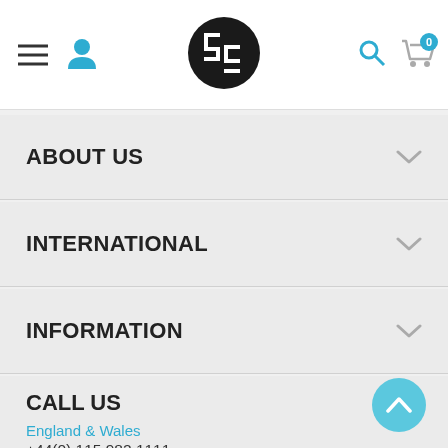[Figure (logo): Website header navigation bar with hamburger menu, user icon, central logo (interlocking SG letters in black circle), search icon, and shopping cart icon with 0 badge]
ABOUT US
INTERNATIONAL
INFORMATION
CALL US
England & Wales
+44(0) 115 982 1111
Scotland
+44(0) 1236 431 857